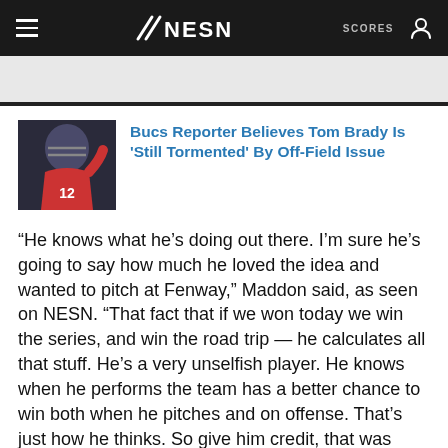NESN — SCORES
[Figure (screenshot): Thumbnail photo of Tom Brady in Tampa Bay Buccaneers helmet]
Bucs Reporter Believes Tom Brady Is 'Still Tormented' By Off-Field Issue
“He knows what he’s doing out there. I’m sure he’s going to say how much he loved the idea and wanted to pitch at Fenway,” Maddon said, as seen on NESN. “That fact that if we won today we win the series, and win the road trip — he calculates all that stuff. He’s a very unselfish player. He knows when he performs the team has a better chance to win both when he pitches and on offense. That’s just how he thinks. So give him credit, that was pretty special